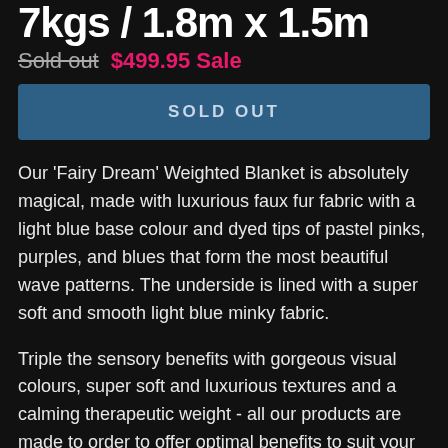7kgs / 1.8m x 1.5m
Sold out $499.95 Sale
SOLD OUT
Our 'Fairy Dream' Weighted Blanket is absolutely magical, made with luxurious faux fur fabric with a light blue base colour and dyed tips of pastel pinks, purples, and blues that form the most beautiful wave patterns. The underside is lined with a super soft and smooth light blue minky fabric.
Triple the sensory benefits with gorgeous visual colours, super soft and luxurious textures and a calming therapeutic weight - all our products are made to order to offer optimal benefits to suit your sensory needs.
Size: Approximately 1.8m x 1.5m